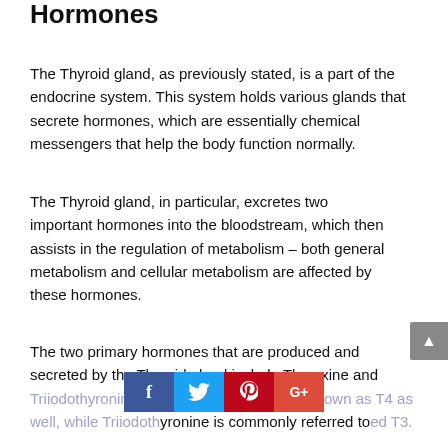Hormones
The Thyroid gland, as previously stated, is a part of the endocrine system. This system holds various glands that secrete hormones, which are essentially chemical messengers that help the body function normally.
The Thyroid gland, in particular, excretes two important hormones into the bloodstream, which then assists in the regulation of metabolism – both general metabolism and cellular metabolism are affected by these hormones.
The two primary hormones that are produced and secreted by the Thyroid gland include Thyroxine and Triiodothyronine¹. Thyroxine is commonly known as T4 as well, while Triiodothyronine is commonly referred to as T3.
[Figure (other): Social media share buttons: Facebook, Twitter, Pinterest, Google+]